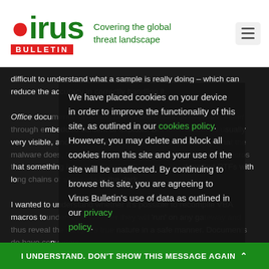[Figure (logo): Virus Bulletin logo with red dot on 'i', green text, red BULLETIN banner, and tagline 'Covering the global threat landscape']
difficult to understand what a sample is really doing – which can reduce the accuracy in correctly handling it.
Office documents have long been used to launch malware, either through embedded content or exploits. But the malware is usually very visible, and while an analyst might not know exactly what the malware does, finding strange data in strange locations, or macros that run something is often a sign that something is wrong. This is different for hand-crafted RTFs with long chains of shellcode in the dark.
I wanted to understand whether it's possible to recompile VBA macros to understand whether they will 'run' on any gateway and thus reveal the sample's true nature in a safe manner. Documents do have converters...
We have placed cookies on your device in order to improve the functionality of this site, as outlined in our cookies policy. However, you may delete and block all cookies from this site and your use of the site will be unaffected. By continuing to browse this site, you are agreeing to Virus Bulletin's use of data as outlined in our privacy policy.
I UNDERSTAND. DON'T SHOW THIS MESSAGE AGAIN